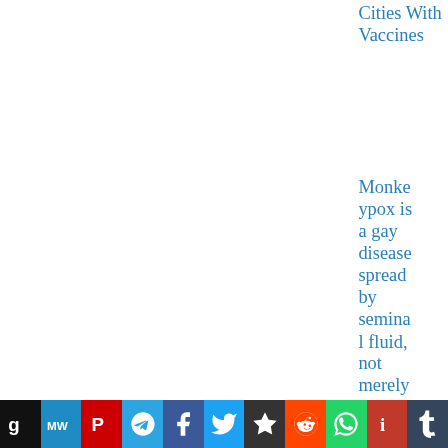Cities With Vaccines
Monkeypox is a gay disease spread by seminal fluid, not merely ski...